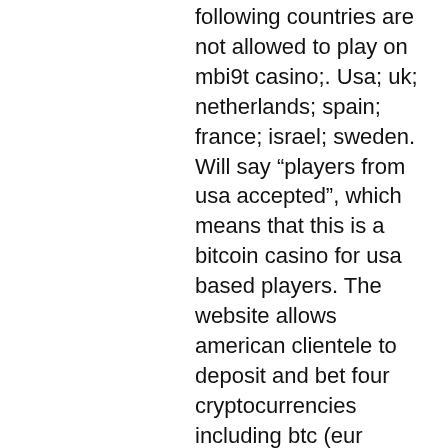following countries are not allowed to play on mbi9t casino;. Usa; uk; netherlands; spain; france; israel; sweden. Will say "players from usa accepted", which means that this is a bitcoin casino for usa based players. The website allows american clientele to deposit and bet four cryptocurrencies including btc (eur deposits are also supported). The minimum deposit for bitcoins. This is also one of the most straightforward bonuses to obtain, as the mbitcasino places few limits on players who wish to take advantage of it. The government of curacao regulates mbitcasino, like it does with many other crypto casinos. This enables mbit to accept players from all. If you start looking for a betting website, there is a pretty high chance you'll stumble upon mbit casino. This gambling operator offers a. Reg bitcoin slots - play online crypto slots at mbitcasino. In addition to this vast gaming library and the fully anonymous payments, players at mbit